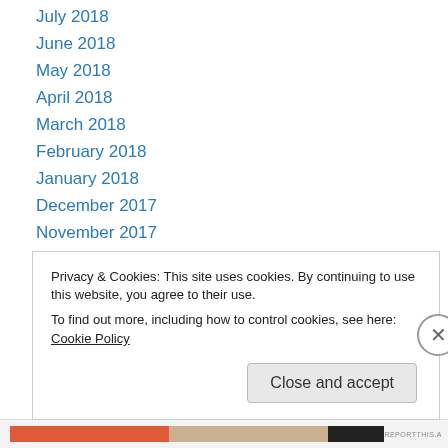July 2018
June 2018
May 2018
April 2018
March 2018
February 2018
January 2018
December 2017
November 2017
October 2017
September 2017
July 2017
June 2017
Privacy & Cookies: This site uses cookies. By continuing to use this website, you agree to their use.
To find out more, including how to control cookies, see here: Cookie Policy
Close and accept